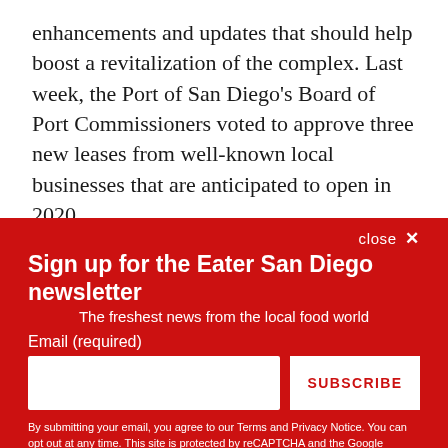enhancements and updates that should help boost a revitalization of the complex. Last week, the Port of San Diego's Board of Port Commissioners voted to approve three new leases from well-known local businesses that are anticipated to open in 2020.
close ✕
Sign up for the Eater San Diego newsletter
The freshest news from the local food world
Email (required)
SUBSCRIBE
By submitting your email, you agree to our Terms and Privacy Notice. You can opt out at any time. This site is protected by reCAPTCHA and the Google Privacy Policy and Terms of Service apply.